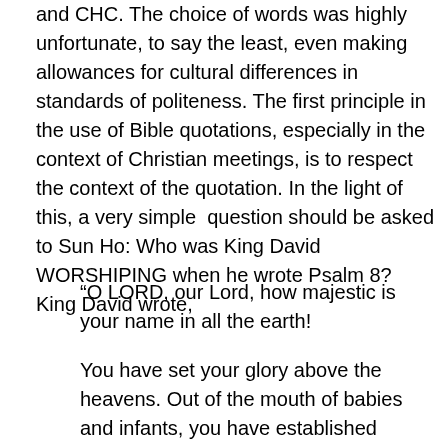and CHC. The choice of words was highly unfortunate, to say the least, even making allowances for cultural differences in standards of politeness. The first principle in the use of Bible quotations, especially in the context of Christian meetings, is to respect the context of the quotation. In the light of this, a very simple question should be asked to Sun Ho: Who was King David WORSHIPING when he wrote Psalm 8? King David wrote,
“O LORD, our Lord, how majestic is your name in all the earth!
You have set your glory above the heavens. Out of the mouth of babies and infants, you have established strength because of your foes, to still the enemy and the avenger. When I look at your heavens, the work of your fingers, the moon and the stars, which you have